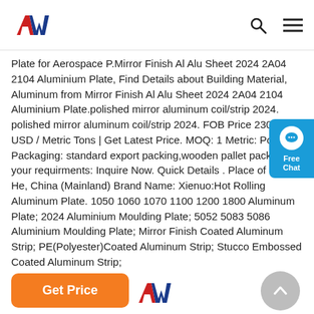AW logo, search icon, menu icon
Plate for Aerospace P.Mirror Finish Al Alu Sheet 2024 2A04 2104 Aluminium Plate, Find Details about Building Material, Aluminum from Mirror Finish Al Alu Sheet 2024 2A04 2104 Aluminium Plate.polished mirror aluminum coil/strip 2024. polished mirror aluminum coil/strip 2024. FOB Price 2300 - USD / Metric Tons | Get Latest Price. MOQ: 1 Metric: Port: : Packaging: standard export packing,wooden pallet packing,a your requirments: Inquire Now. Quick Details . Place of Origi... He, China (Mainland) Brand Name: Xienuo:Hot Rolling Aluminum Plate. 1050 1060 1070 1100 1200 1800 Aluminum Plate; 2024 Aluminium Moulding Plate; 5052 5083 5086 Aluminium Moulding Plate; Mirror Finish Coated Aluminum Strip; PE(Polyester)Coated Aluminum Strip; Stucco Embossed Coated Aluminum Strip;
[Figure (other): Chat widget with speech bubble icon, label Free Chat]
Get Price
[Figure (other): Back to top circular grey button with upward chevron]
[Figure (logo): AW logo at bottom of page]